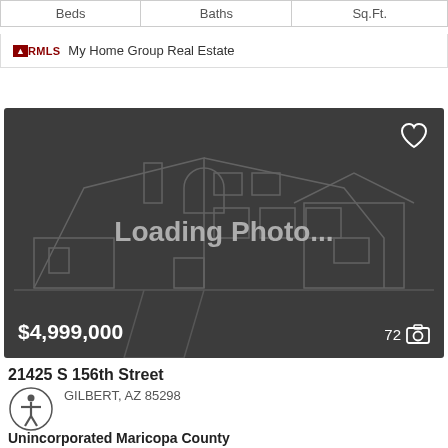| Beds | Baths | Sq.Ft. |
| --- | --- | --- |
|   |   | 3,055 |
ARMLS  My Home Group Real Estate
[Figure (photo): Loading photo placeholder with house outline silhouette on dark grey background. Price $4,999,000 shown bottom left, 72 photos indicator bottom right.]
21425 S 156th Street
GILBERT, AZ 85298
Unincorporated Maricopa County